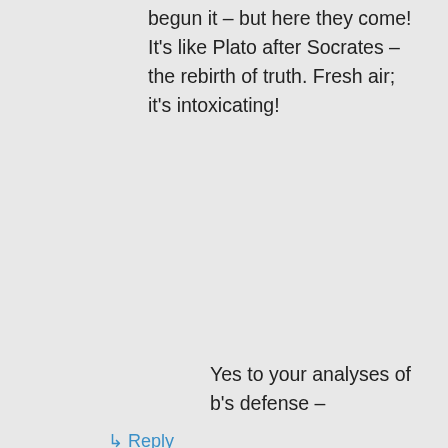begun it – but here they come! It's like Plato after Socrates – the rebirth of truth. Fresh air; it's intoxicating!
↳ Reply
juliania2 on June 25, 2016 at 9:12 am
Yes to your analyses of b's defense –